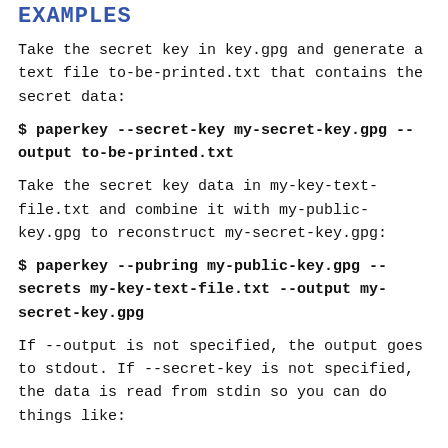EXAMPLES
Take the secret key in key.gpg and generate a text file to-be-printed.txt that contains the secret data:
$ paperkey --secret-key my-secret-key.gpg --output to-be-printed.txt
Take the secret key data in my-key-text-file.txt and combine it with my-public-key.gpg to reconstruct my-secret-key.gpg:
$ paperkey --pubring my-public-key.gpg --secrets my-key-text-file.txt --output my-secret-key.gpg
If --output is not specified, the output goes to stdout. If --secret-key is not specified, the data is read from stdin so you can do things like: